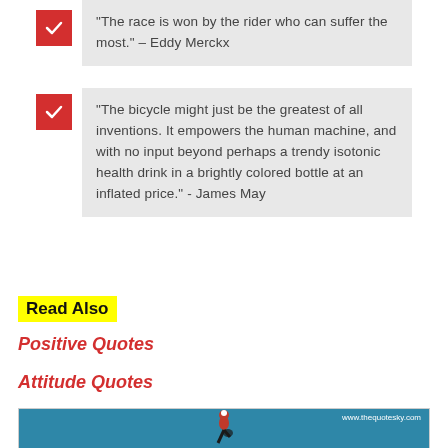"The race is won by the rider who can suffer the most." – Eddy Merckx
"The bicycle might just be the greatest of all inventions. It empowers the human machine, and with no input beyond perhaps a trendy isotonic health drink in a brightly colored bottle at an inflated price." - James May
Read Also
Positive Quotes
Attitude Quotes
[Figure (illustration): Illustration of a cyclist on a teal/blue background with website watermark www.thequotesky.com]